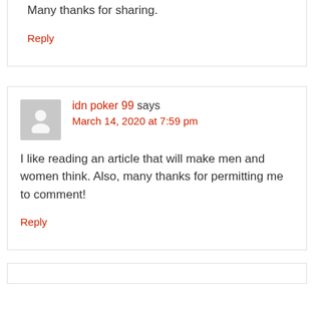Many thanks for sharing.
Reply
idn poker 99 says
March 14, 2020 at 7:59 pm
I like reading an article that will make men and women think. Also, many thanks for permitting me to comment!
Reply